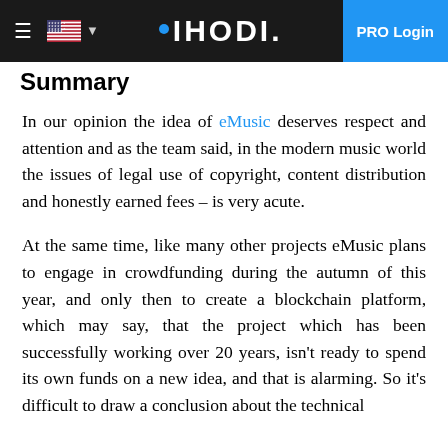IHODI. PRO Login
Summary
In our opinion the idea of eMusic deserves respect and attention and as the team said, in the modern music world the issues of legal use of copyright, content distribution and honestly earned fees – is very acute.
At the same time, like many other projects eMusic plans to engage in crowdfunding during the autumn of this year, and only then to create a blockchain platform, which may say, that the project which has been successfully working over 20 years, isn't ready to spend its own funds on a new idea, and that is alarming. So it's difficult to draw a conclusion about the technical